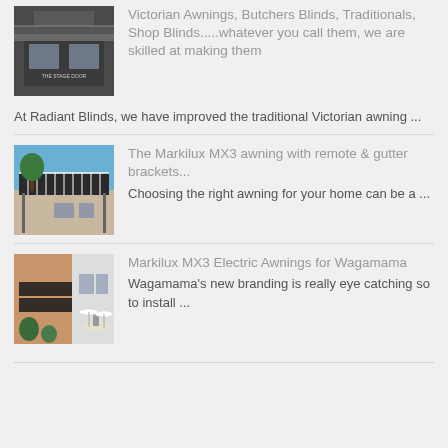[Figure (photo): Shop front photo - The Stage Door]
Victorian Awnings, Butchers Blinds, Traditionals, Shop Blinds.....whatever you call them, we are skilled at making them
At Radiant Blinds, we have improved the traditional Victorian awning ...
[Figure (photo): Markilux MX3 awning installed on building exterior]
The Markilux MX3 awning with remote & gutter brackets...
Choosing the right awning for your home can be a ...
[Figure (photo): Markilux MX3 electric awnings installed at Wagamama restaurant]
Markilux MX3 Electric Awnings for Wagamama
Wagamama's new branding is really eye catching so to install ...